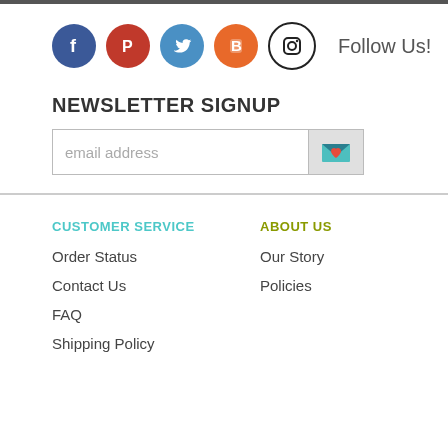[Figure (infographic): Row of five social media icons (Facebook, Pinterest, Twitter, Blogger, Instagram) followed by 'Follow Us!' text]
NEWSLETTER SIGNUP
[Figure (infographic): Email address input field with envelope/heart icon button]
CUSTOMER SERVICE
Order Status
Contact Us
FAQ
Shipping Policy
ABOUT US
Our Story
Policies